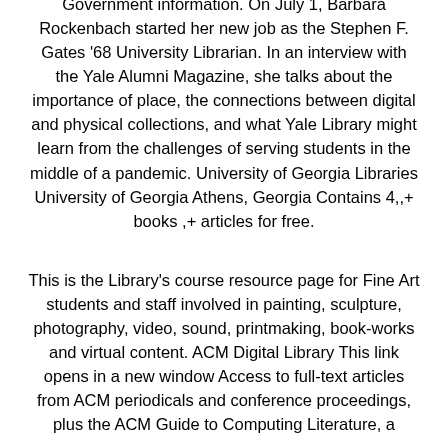Government information. On July 1, Barbara Rockenbach started her new job as the Stephen F. Gates '68 University Librarian. In an interview with the Yale Alumni Magazine, she talks about the importance of place, the connections between digital and physical collections, and what Yale Library might learn from the challenges of serving students in the middle of a pandemic. University of Georgia Libraries University of Georgia Athens, Georgia Contains 4,,+ books ,+ articles for free.
This is the Library's course resource page for Fine Art students and staff involved in painting, sculpture, photography, video, sound, printmaking, book-works and virtual content. ACM Digital Library This link opens in a new window Access to full-text articles from ACM periodicals and conference proceedings, plus the ACM Guide to Computing Literature, a